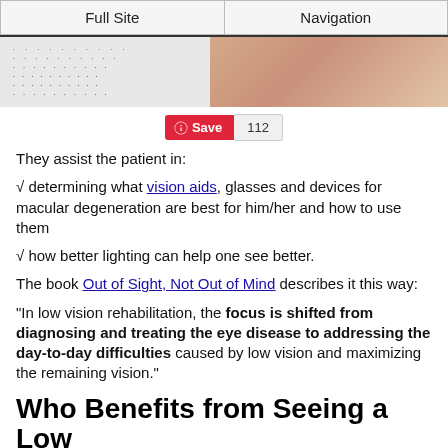Full Site | Navigation
[Figure (photo): Left side shows an eye chart with rows of letters and numbers; right side shows a close-up of elderly skin/face.]
[Figure (infographic): Pinterest Save button with count of 112]
They assist the patient in:
√ determining what vision aids, glasses and devices for macular degeneration are best for him/her and how to use them
√ how better lighting can help one see better.
The book Out of Sight, Not Out of Mind describes it this way:
"In low vision rehabilitation, the focus is shifted from diagnosing and treating the eye disease to addressing the day-to-day difficulties caused by low vision and maximizing the remaining vision."
Who Benefits from Seeing a Low